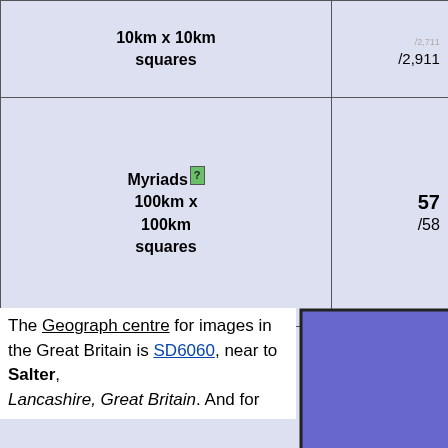| Grid type | Col 2 | Col 3 | Col 4 |
| --- | --- | --- | --- |
| 10km x 10km squares | /2,911 | /1,025 | / |
| Myriads [?] 100km x 100km squares | 57 /58 | 18 /18 |  |
[Figure (map): Blue rectangle representing a map region with two crosshair markers indicating geographic points]
The Geograph centre for images in the Great Britain is SD6060, near to Salter, Lancashire, Great Britain. And for